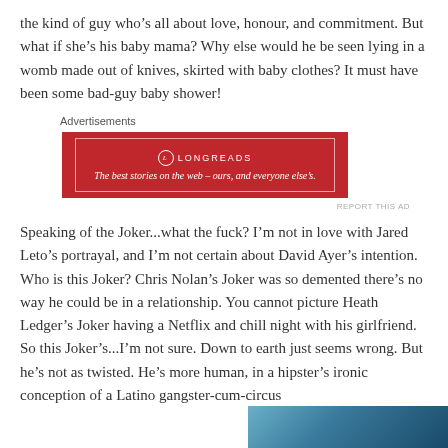the kind of guy who's all about love, honour, and commitment. But what if she's his baby mama? Why else would he be seen lying in a womb made out of knives, skirted with baby clothes? It must have been some bad-guy baby shower!
Advertisements
[Figure (other): Longreads advertisement banner in red: 'The best stories on the web – ours, and everyone else's.']
Speaking of the Joker...what the fuck? I'm not in love with Jared Leto's portrayal, and I'm not certain about David Ayer's intention. Who is this Joker? Chris Nolan's Joker was so demented there's no way he could be in a relationship. You cannot picture Heath Ledger's Joker having a Netflix and chill night with his girlfriend. So this Joker's...I'm not sure. Down to earth just seems wrong. But he's not as twisted. He's more human, in a hipster's ironic conception of a Latino gangster-cum-circus
[Figure (photo): Partial photo visible at bottom right of page, appears to be a dark-toned image.]